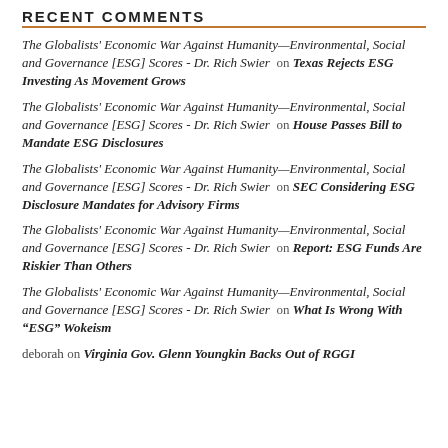RECENT COMMENTS
The Globalists' Economic War Against Humanity—Environmental, Social and Governance [ESG] Scores - Dr. Rich Swier on Texas Rejects ESG Investing As Movement Grows
The Globalists' Economic War Against Humanity—Environmental, Social and Governance [ESG] Scores - Dr. Rich Swier on House Passes Bill to Mandate ESG Disclosures
The Globalists' Economic War Against Humanity—Environmental, Social and Governance [ESG] Scores - Dr. Rich Swier on SEC Considering ESG Disclosure Mandates for Advisory Firms
The Globalists' Economic War Against Humanity—Environmental, Social and Governance [ESG] Scores - Dr. Rich Swier on Report: ESG Funds Are Riskier Than Others
The Globalists' Economic War Against Humanity—Environmental, Social and Governance [ESG] Scores - Dr. Rich Swier on What Is Wrong With “ESG” Wokeism
deborah on Virginia Gov. Glenn Youngkin Backs Out of RGGI